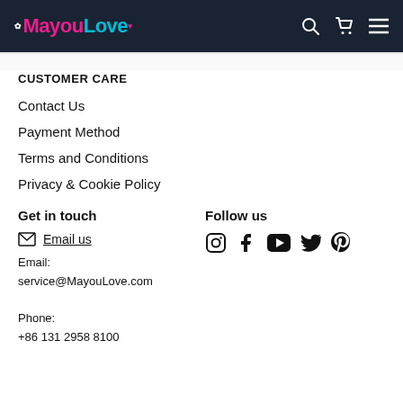MayouLove
CUSTOMER CARE
Contact Us
Payment Method
Terms and Conditions
Privacy & Cookie Policy
Get in touch
Email us
Email: service@MayouLove.com
Phone:
+86 131 2958 8100
Follow us
[Figure (infographic): Social media icons: Instagram, Facebook, YouTube, Twitter, Pinterest]